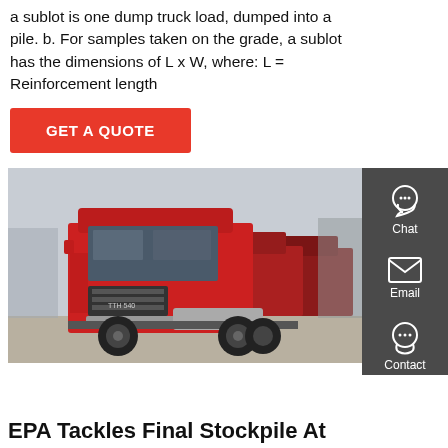a sublot is one dump truck load, dumped into a pile. b. For samples taken on the grade, a sublot has the dimensions of L x W, where: L = Reinforcement length
GET A QUOTE
[Figure (photo): Red dump trucks (semi-truck tractors) parked in a lot, with multiple red trucks visible in the background.]
EPA Tackles Final Stockpile At